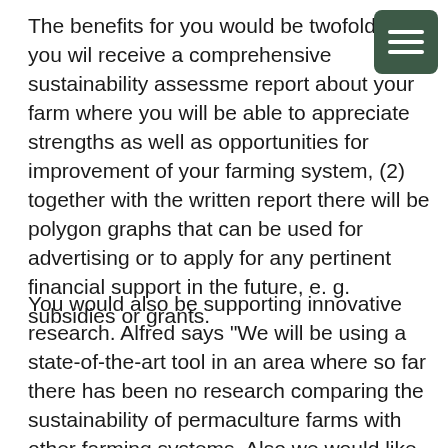The benefits for you would be twofold: (1) you will receive a comprehensive sustainability assessment report about your farm where you will be able to appreciate strengths as well as opportunities for improvement of your farming system, (2) together with the written report there will be polygon graphs that can be used for advertising or to apply for any pertinent financial support in the future, e. g. subsidies or grants.
You would also be supporting innovative research. Alfred says “We will be using a state-of-the-art tool in an area where so far there has been no research comparing the sustainability of permaculture farms with other farming systems. Also we would like to test if the SMART tool is compatible with the concept of permaculture in principle or if it can be developed further to adapt to permaculture more specifically. Finally, we will gain a deeper insight regarding the